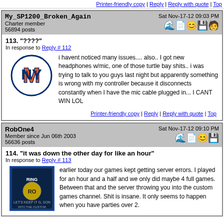Printer-friendly copy | Reply | Reply with quote | Top
My_SP1200_Broken_Again
Charter member
56894 posts
Sat Nov-17-12 09:03 PM
113. "????"
In response to Reply # 112
i havent noticed many issues.... also.. I got new headphones w/mic, one of those turtle bay shits.. i was trying to talk to you guys last night but apparently something is wrong with my controller because it disconnects constantly when I have the mic cable plugged in... I CANT WIN LOL
Printer-friendly copy | Reply | Reply with quote | Top
RobOne4
Member since Jun 06th 2003
56636 posts
Sat Nov-17-12 09:10 PM
114. "it was down the other day for like an hour"
In response to Reply # 113
earlier today our games kept getting server errors. I played for an hour and a half and we only did maybe 4 full games. Between that and the server throwing you into the custom games channel. Shit is insane. It only seems to happen when you have parties over 2.